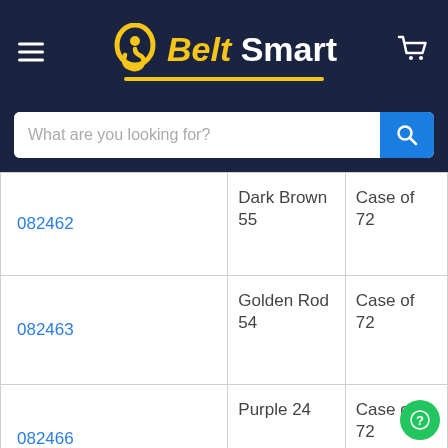[Figure (logo): Belt Smart logo on dark navy background with hamburger menu icon on left and cart icon on right. Search bar below logo.]
| Item # | Color | Pack |
| --- | --- | --- |
| 082462 | Dark Brown 55 | Case of 72 |
| 082463 | Golden Rod 54 | Case of 72 |
| 082466 | Purple 24 | Case of 72 |
| 082467 | Bright Red 34 | Case of 72 |
| ... | Neon | Case of... |